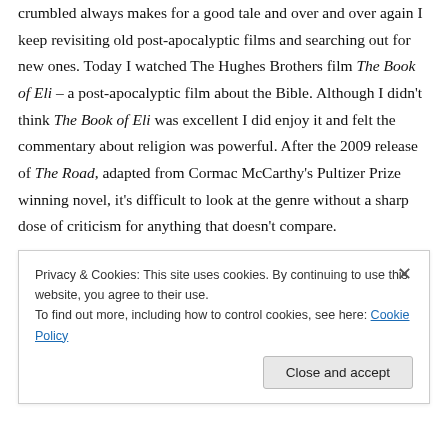crumbled always makes for a good tale and over and over again I keep revisiting old post-apocalyptic films and searching out for new ones. Today I watched The Hughes Brothers film The Book of Eli – a post-apocalyptic film about the Bible. Although I didn't think The Book of Eli was excellent I did enjoy it and felt the commentary about religion was powerful. After the 2009 release of The Road, adapted from Cormac McCarthy's Pultizer Prize winning novel, it's difficult to look at the genre without a sharp dose of criticism for anything that doesn't compare.
Unfortunately, The Book of Eli doesn't compare to The
Privacy & Cookies: This site uses cookies. By continuing to use this website, you agree to their use. To find out more, including how to control cookies, see here: Cookie Policy
Close and accept